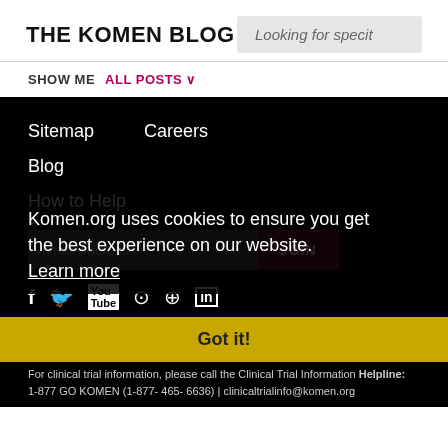THE KOMEN BLOG
Looking for specit
SHOW ME  ALL POSTS
Sitemap
Careers
Blog
How to Help
email address  JOIN
Komen.org uses cookies to ensure you get the best experience on our website. Learn more
Got it!
For breast health or breast cancer information, please call the Breast Care Helpline: 1-877 GO KOMEN (1-877- 465- 6636) | helpline@komen.org
For clinical trial information, please call the Clinical Trial Information Helpline: 1-877 GO KOMEN (1-877- 465- 6636) | clinicaltrialinfo@komen.org